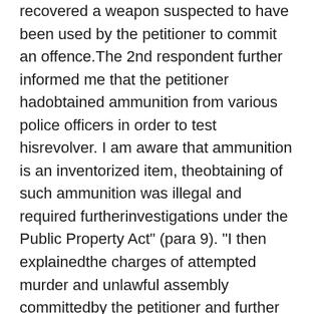recovered a weapon suspected to have been used by the petitioner to commit an offence. The 2nd respondent further informed me that the petitioner hadobtained ammunition from various police officers in order to test hisrevolver. I am aware that ammunition is an inventorized item, theobtaining of such ammunition was illegal and required furtherinvestigations under the Public Property Act" (para 9). "I then explainedthe charges of attempted murder and unlawful assembly committedby the petitioner and further informed the DIG/CID (3rd respondent)about the discovery of the weapon and received orders to arrest thepetitioner" (para 10). There is nothing to indicate that the 1st respondent gave hisindependent mind to bear on the arrest of the petitioner: he executedthe orders given by his superior the 3rd respondent. The arrest underthose circumstances is illegal. See Gonecleare De...